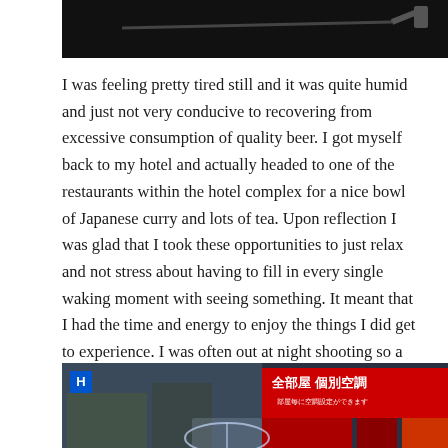[Figure (photo): Dark photograph showing what appears to be a pipe or rod against a dark background, with a watermark reading 'Greg Cromie PHOTOGRAPHS' in the upper left corner.]
I was feeling pretty tired still and it was quite humid and just not very conducive to recovering from excessive consumption of quality beer. I got myself back to my hotel and actually headed to one of the restaurants within the hotel complex for a nice bowl of Japanese curry and lots of tea. Upon reflection I was glad that I took these opportunities to just relax and not stress about having to fill in every single waking moment with seeing something. It meant that I had the time and energy to enjoy the things I did get to experience. I was often out at night shooting so a little rest stop in the day is not such a bad thing.
[Figure (photo): Street scene photograph showing a busy Japanese street with signs in Japanese characters including '全部屋 個別空調' and other shop signage, with a person holding a transparent umbrella in the foreground, and a blue hotel sign visible on the left.]